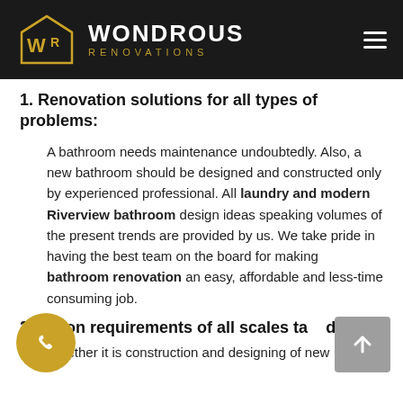WONDROUS RENOVATIONS
1. Renovation solutions for all types of problems:
A bathroom needs maintenance undoubtedly. Also, a new bathroom should be designed and constructed only by experienced professional. All laundry and modern Riverview bathroom design ideas speaking volumes of the present trends are provided by us. We take pride in having the best team on the board for making bathroom renovation an easy, affordable and less-time consuming job.
2. vation requirements of all scales ta d:
Whether it is construction and designing of new